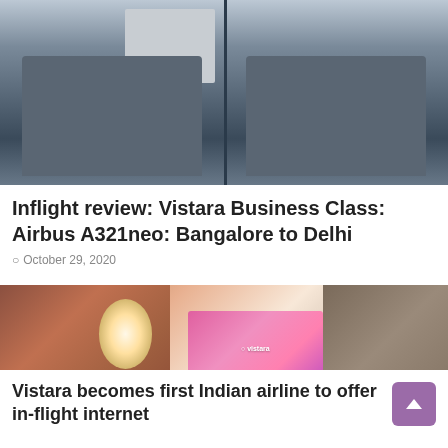[Figure (photo): Interior of an airplane business class cabin showing dark blue/grey seats from behind]
Inflight review: Vistara Business Class: Airbus A321neo: Bangalore to Delhi
October 29, 2020
[Figure (photo): Vistara business class seat interior showing brown quilted seat, oval window with bright light, entertainment screen displaying Vistara logo on pink background, meal tray with food items, and another seat to the right]
Vistara becomes first Indian airline to offer in-flight internet